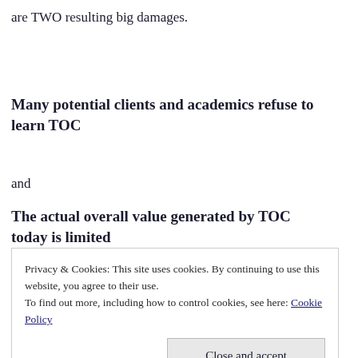are TWO resulting big damages.
Many potential clients and academics refuse to learn TOC
and
The actual overall value generated by TOC today is limited
Privacy & Cookies: This site uses cookies. By continuing to use this website, you agree to their use.
To find out more, including how to control cookies, see here: Cookie Policy
Close and accept